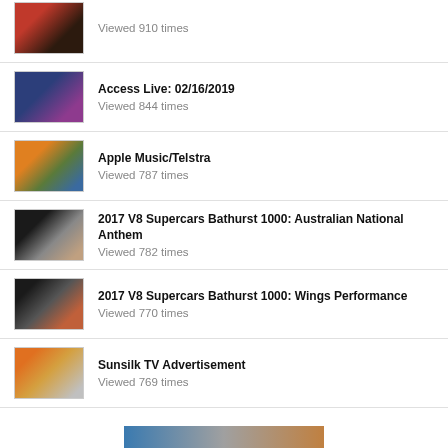Viewed 910 times
Access Live: 02/16/2019 — Viewed 844 times
Apple Music/Telstra — Viewed 787 times
2017 V8 Supercars Bathurst 1000: Australian National Anthem — Viewed 782 times
2017 V8 Supercars Bathurst 1000: Wings Performance — Viewed 770 times
Sunsilk TV Advertisement — Viewed 769 times
[Figure (illustration): Horizontal banner image at bottom of page]